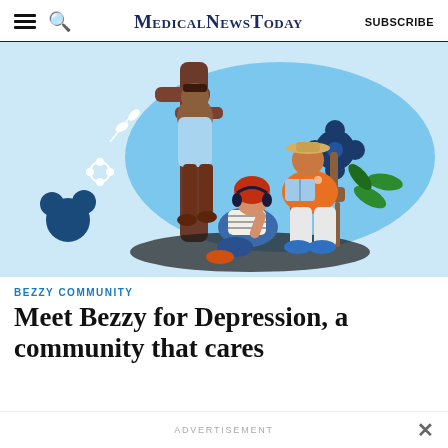MedicalNewsToday  SUBSCRIBE
[Figure (illustration): Colorful illustration of three people in a community scene: a tall person walking, a woman with red hair sitting on the ground with headphones, and a person in an orange floral shirt sitting on a chair reading. Background has blue abstract shapes, flowers, and plants.]
BEZZY COMMUNITY
Meet Bezzy for Depression, a community that cares